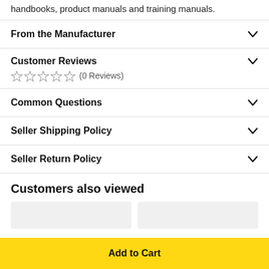handbooks, product manuals and training manuals.
From the Manufacturer
Customer Reviews
☆☆☆☆☆ (0 Reviews)
Common Questions
Seller Shipping Policy
Seller Return Policy
Customers also viewed
Add to Cart